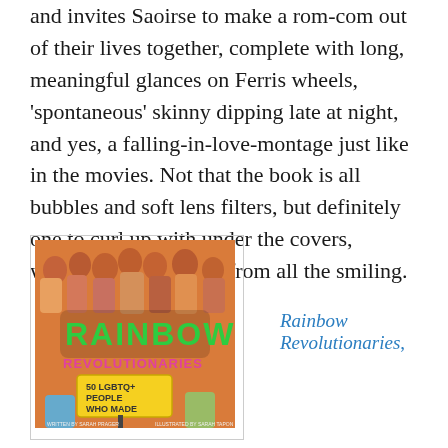and invites Saoirse to make a rom-com out of their lives together, complete with long, meaningful glances on Ferris wheels, 'spontaneous' skinny dipping late at night, and yes, a falling-in-love-montage just like in the movies. Not that the book is all bubbles and soft lens filters, but definitely one to curl up with under the covers, wearing out your face from all the smiling.
[Figure (illustration): Book cover of 'Rainbow Revolutionaries: 50 LGBTQ+ People Who Made History', illustrated with a colorful crowd of diverse people on an orange background, with the title in large green and pink lettering.]
Rainbow Revolutionaries,